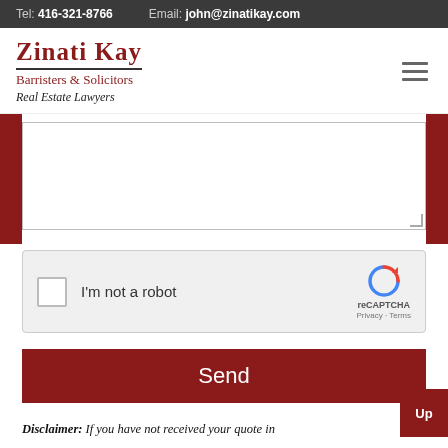Tel: 416-321-8766   Email: john@zinatikay.com
[Figure (logo): Zinati Kay Barristers & Solicitors Real Estate Lawyers logo with dark red serif text]
[Figure (screenshot): A web contact form with a large empty textarea input field]
[Figure (screenshot): reCAPTCHA widget with checkbox labeled I'm not a robot]
Send
Up
Disclaimer: If you have not received your quote in